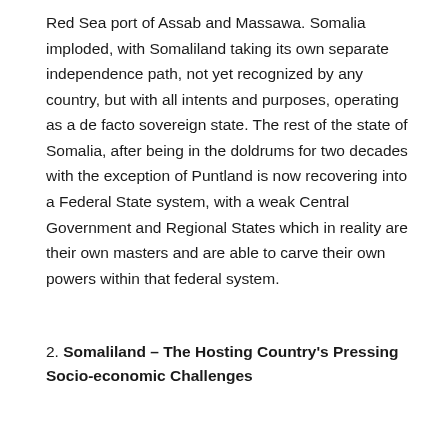Red Sea port of Assab and Massawa. Somalia imploded, with Somaliland taking its own separate independence path, not yet recognized by any country, but with all intents and purposes, operating as a de facto sovereign state. The rest of the state of Somalia, after being in the doldrums for two decades with the exception of Puntland is now recovering into a Federal State system, with a weak Central Government and Regional States which in reality are their own masters and are able to carve their own powers within that federal system.
2. Somaliland – The Hosting Country's Pressing Socio-economic Challenges